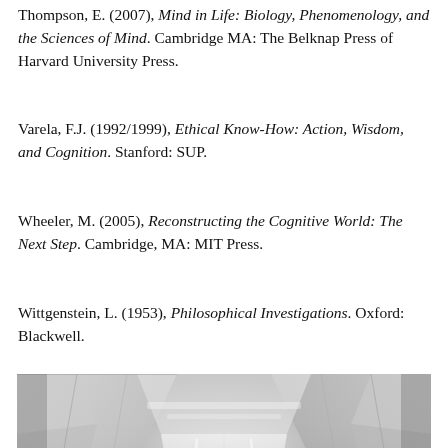Thompson, E. (2007), Mind in Life: Biology, Phenomenology, and the Sciences of Mind. Cambridge MA: The Belknap Press of Harvard University Press.
Varela, F.J. (1992/1999), Ethical Know-How: Action, Wisdom, and Cognition. Stanford: SUP.
Wheeler, M. (2005), Reconstructing the Cognitive World: The Next Step. Cambridge, MA: MIT Press.
Wittgenstein, L. (1953), Philosophical Investigations. Oxford: Blackwell.
[Figure (photo): Black and white photograph of a geometric mechanical interior, showing a symmetrical structure with angular panels and corridors, viewed from below or inside.]